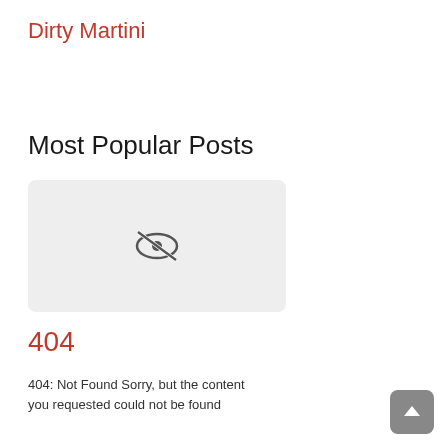Dirty Martini
Most Popular Posts
[Figure (illustration): Light gray placeholder image with a crossed-out eye icon in the center, indicating hidden or unavailable content]
404
404: Not Found Sorry, but the content you requested could not be found